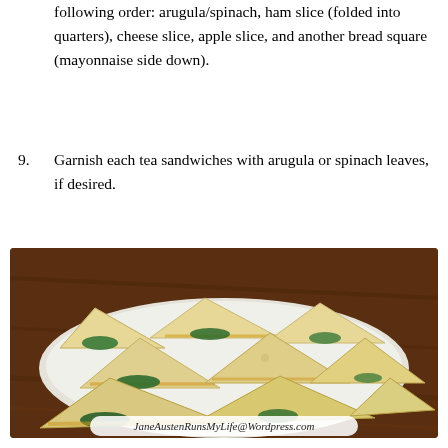following order: arugula/spinach, ham slice (folded into quarters), cheese slice, apple slice, and another bread square (mayonnaise side down).
9. Garnish each tea sandwiches with arugula or spinach leaves, if desired.
[Figure (photo): A white rectangular plate on a dark wood table, piled with triangular tea sandwiches made from white bread with visible green arugula/spinach leaves, ham, and cheese filling. A watermark at the bottom reads 'JaneAustenRunsMyLife@Wordpress.com'.]